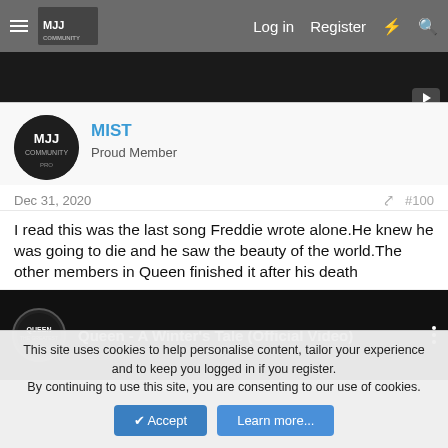MJJ Community — Log in  Register
[Figure (screenshot): Dark video player strip with play button]
MIST
Proud Member
Dec 31, 2020  #100
I read this was the last song Freddie wrote alone.He knew he was going to die and he saw the beauty of the world.The other members in Queen finished it after his death
[Figure (screenshot): YouTube embed: Queen - A Winter's Tale (Official Video)]
This site uses cookies to help personalise content, tailor your experience and to keep you logged in if you register.
By continuing to use this site, you are consenting to our use of cookies.